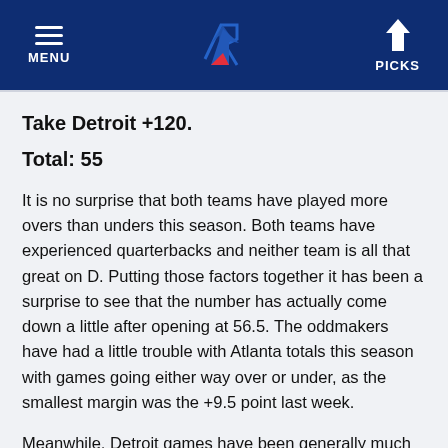MENU | [logo] | PICKS
Take Detroit +120.
Total: 55
It is no surprise that both teams have played more overs than unders this season. Both teams have experienced quarterbacks and neither team is all that great on D. Putting those factors together it has been a surprise to see that the number has actually come down a little after opening at 56.5. The oddmakers have had a little trouble with Atlanta totals this season with games going either way over or under, as the smallest margin was the +9.5 point last week.
Meanwhile, Detroit games have been generally much closer to the number. If we are backing an Atlanta win and cover it